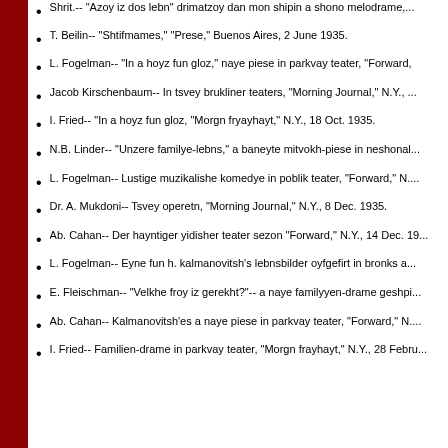Shrit.-- "Azoy iz dos lebn" drimatzoy dan mon shipin a shono melodrame,...
T. Beilin-- "Shtifmames," "Prese," Buenos Aires, 2 June 1935.
L. Fogelman-- "In a hoyz fun gloz," naye piese in parkvay teater, "Forward,...
Jacob Kirschenbaum-- In tsvey brukliner teaters, "Morning Journal," N.Y.,...
I. Fried-- "In a hoyz fun gloz, "Morgn fryayhayt," N.Y., 18 Oct. 1935.
N.B. Linder-- "Unzere familye-lebns," a baneyte mitvokh-piese in neshonal...
L. Fogelman-- Lustige muzikalishe komedye in poblik teater, "Forward," N....
Dr. A. Mukdoni-- Tsvey operetn, "Morning Journal," N.Y., 8 Dec. 1935.
Ab. Cahan-- Der hayntiger yidisher teater sezon "Forward," N.Y., 14 Dec. 19...
L. Fogelman-- Eyne fun h. kalmanovitsh's lebnsbilder oyfgefirt in bronks a...
E. Fleischman-- "Velkhe froy iz gerekht?"-- a naye familyyen-drame geshpi...
Ab. Cahan-- Kalmanovitsh'es a naye piese in parkvay teater, "Forward," N....
I. Fried-- Familien-drame in parkvay teater, "Morgn frayhayt," N.Y., 28 Febru...